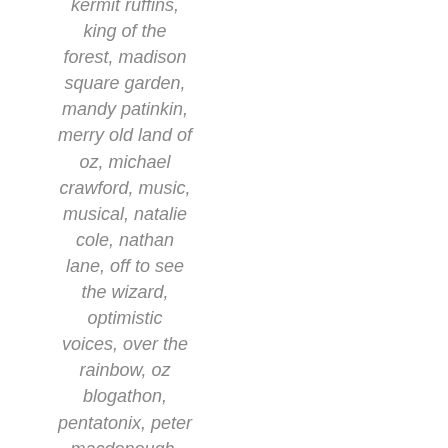kermit ruffins, king of the forest, madison square garden, mandy patinkin, merry old land of oz, michael crawford, music, musical, natalie cole, nathan lane, off to see the wizard, optimistic voices, over the rainbow, oz blogathon, pentatonix, peter macdonough, phil wilson, Pogo, rock, rock music, scarecrow,